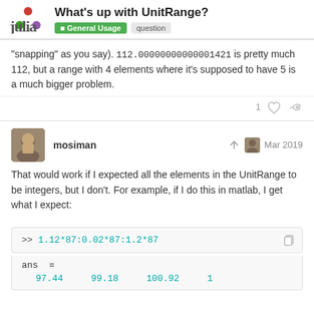What's up with UnitRange? | General Usage | question
"snapping" as you say). 112.00000000000001421 is pretty much 112, but a range with 4 elements where it's supposed to have 5 is a much bigger problem.
mosiman   Mar 2019
That would work if I expected all the elements in the UnitRange to be integers, but I don't. For example, if I do this in matlab, I get what I expect:
>> 1.12*87:0.02*87:1.2*87
ans =
    97.44    99.18    100.92    1